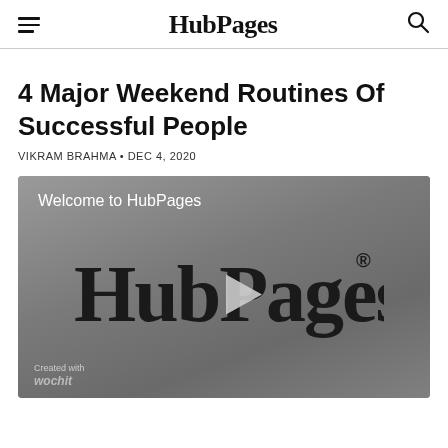HubPages
4 Major Weekend Routines Of Successful People
VIKRAM BRAHMA • DEC 4, 2020
[Figure (screenshot): HubPages video thumbnail with 'Welcome to HubPages' text, HubPages logo in large cursive/handwritten font with a play button triangle overlaid on the letter 'P', registered trademark symbol, and Wochit branding in the bottom left corner. Background is dark grey gradient.]